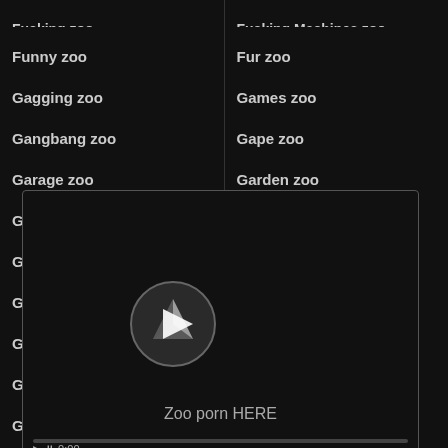Fucking zoo | Fucking Machines zoo
Funny zoo | Fur zoo
Gagging zoo | Games zoo
Gangbang zoo | Gape zoo
Garage zoo | Garden zoo
Gay zoo | German zoo
Ghetto zoo | Girl zoo
Girl fuck guy zoo | Giving head zoo
Glamour zoo | Glasses zoo
Gloryhole zoo | Gloves zoo
Golden shower zoo | Golf zoo
[Figure (screenshot): Video player overlay showing a play button and 'Zoo porn HERE' label with progress bar]